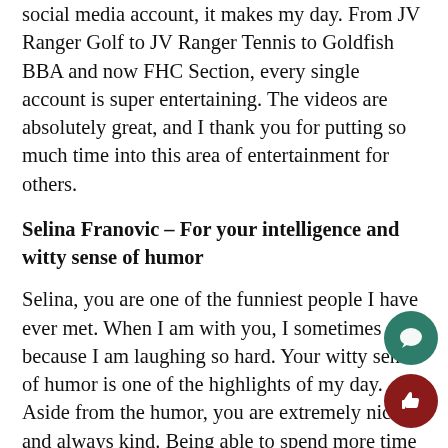social media account, it makes my day. From JV Ranger Golf to JV Ranger Tennis to Goldfish BBA and now FHC Section, every single account is super entertaining. The videos are absolutely great, and I thank you for putting so much time into this area of entertainment for others.
Selina Franovic – For your intelligence and witty sense of humor
Selina, you are one of the funniest people I have ever met. When I am with you, I sometimes cry because I am laughing so hard. Your witty sense of humor is one of the highlights of my day. Aside from the humor, you are extremely nice and always kind. Being able to spend more time with you and become close to you in the past year has truly been a blessing.